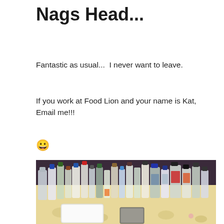Nags Head...
Fantastic as usual...  I never want to leave.
If you work at Food Lion and your name is Kat, Email me!!!
😀
[Figure (photo): Photo of many liquor bottles arranged on a floral tablecloth, with a white styrofoam container and a deck of cards in the foreground.]